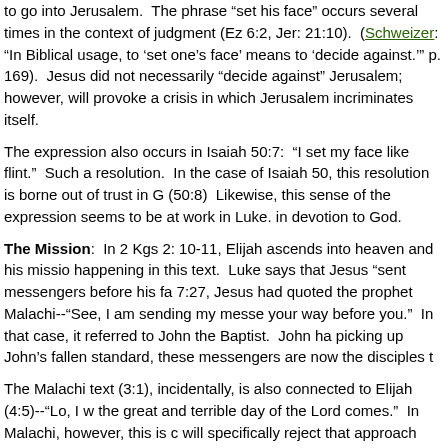to go into Jerusalem.  The phrase "set his face" occurs several times in the context of judgment (Ez 6:2, Jer: 21:10).  (Schweizer: "In Biblical usage, to 'set one's face' means to 'decide against.'" p. 169).  Jesus did not necessarily "decide against" Jerusalem; however, will provoke a crisis in which Jerusalem incriminates itself.
The expression also occurs in Isaiah 50:7:  "I set my face like flint."  Such an expression connotes resolution.  In the case of Isaiah 50, this resolution is borne out of trust in God who vindicates (50:8)  Likewise, this sense of the expression seems to be at work in Luke. Jesus is resolved in devotion to God.
The Mission:  In 2 Kgs 2: 10-11, Elijah ascends into heaven and his mission continues. Something similar is happening in this text.  Luke says that Jesus "sent messengers before his face."  Earlier, in 7:27, Jesus had quoted the prophet Malachi--"See, I am sending my messenger to prepare your way before you."  In that case, it referred to John the Baptist.  John has been martyred.  By picking up John's fallen standard, these messengers are now the disciples themselves.
The Malachi text (3:1), incidentally, is also connected to Elijah (4:5)--"Lo, I will send you Elijah before the great and terrible day of the Lord comes."  In Malachi, however, this is connected to judgment.  Luke will specifically reject that approach shortly.
This short text has a great deal of activity and energy.  Depending on how you count, there are eight or nine references to "going" or "journeying" in these few verses.  These verbs are important in Luke.
These messenger/disciples enter a city of Samaritans.  This was unusual.  Samaria lay between Galilee to the north and Judea to the south.  The complex history between Samaritans and Jews left both groups so disgusted with the other that Jews travelling to Galilee or Judea would usually avoid Samaritan territory.